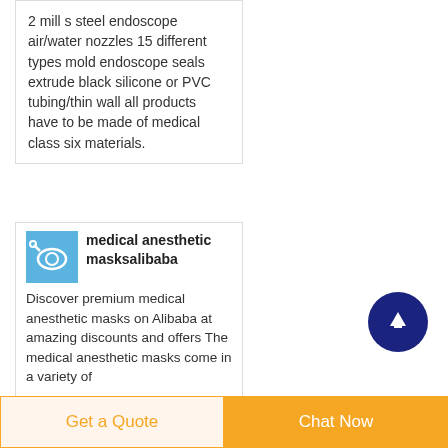2 mill s steel endoscope air/water nozzles 15 different types mold endoscope seals extrude black silicone or PVC tubing/thin wall all products have to be made of medical class six materials.
[Figure (photo): Small product thumbnail image with blue background showing medical mask related product]
medical anesthetic masksalibaba
Discover premium medical anesthetic masks on Alibaba at amazing discounts and offers The medical anesthetic masks come in a variety of
[Figure (other): Dark navy blue circular scroll-to-top button with upward arrow icon]
Get a Quote
Chat Now